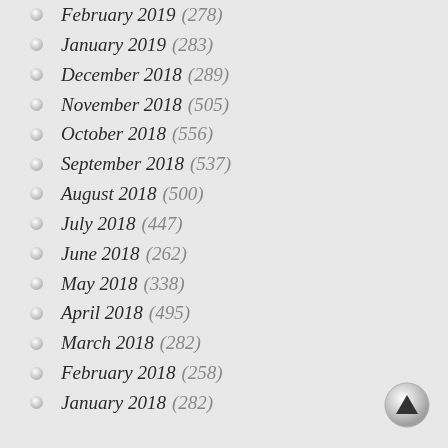February 2019 (278)
January 2019 (283)
December 2018 (289)
November 2018 (505)
October 2018 (556)
September 2018 (537)
August 2018 (500)
July 2018 (447)
June 2018 (262)
May 2018 (338)
April 2018 (495)
March 2018 (282)
February 2018 (258)
January 2018 (282)